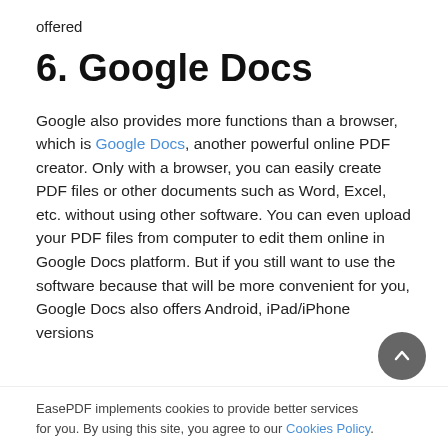offered
6. Google Docs
Google also provides more functions than a browser, which is Google Docs, another powerful online PDF creator. Only with a browser, you can easily create PDF files or other documents such as Word, Excel, etc. without using other software. You can even upload your PDF files from computer to edit them online in Google Docs platform. But if you still want to use the software because that will be more convenient for you, Google Docs also offers Android, iPad/iPhone versions
EasePDF implements cookies to provide better services for you. By using this site, you agree to our Cookies Policy.